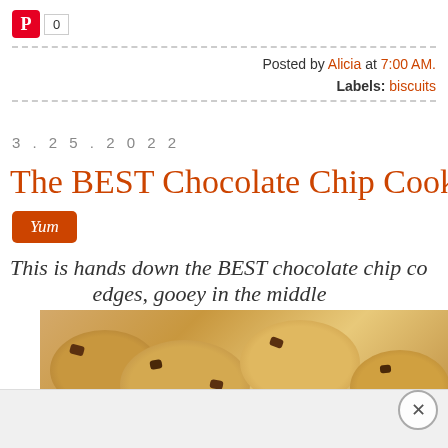[Figure (logo): Pinterest logo icon (red square with P) and count badge showing 0]
Posted by Alicia at 7:00 AM.
Labels: biscuits
3.25.2022
The BEST Chocolate Chip Cookies
[Figure (logo): Yum badge - orange rounded rectangle with italic 'Yum' text in white]
This is hands down the BEST chocolate chip co... edges, gooey in the middle
[Figure (photo): Close-up photo of chocolate chip cookies, golden brown with visible chocolate chips]